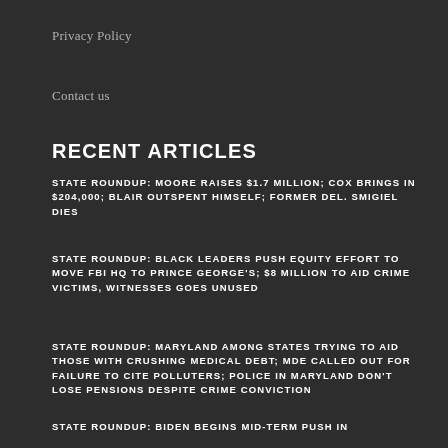Privacy Policy
Contact us
RECENT ARTICLES
STATE ROUNDUP: MOORE RAISES $1.7 MILLION; COX BRINGS IN $204,000; BLAIR OUTSPENT HIMSELF; FORMER DEL. SMIGIEL DIES
STATE ROUNDUP: BLACK LEADERS PUSH EQUITY EFFORT TO MOVE FBI HQ TO PRINCE GEORGE'S; $8 MILLION TO AID CRIME VICTIMS, WITNESSES GOES UNUSED
STATE ROUNDUP: MARYLAND AMONG STATES TRYING TO AID THOSE WITH CRUSHING MEDICAL DEBT; MDE CALLED OUT FOR FAILURE TO CITE POLLUTERS; POLICE IN MARYLAND DON'T LOSE PENSIONS DESPITE CRIME CONVICTION
STATE ROUNDUP: BIDEN BEGINS MID-TERM PUSH IN